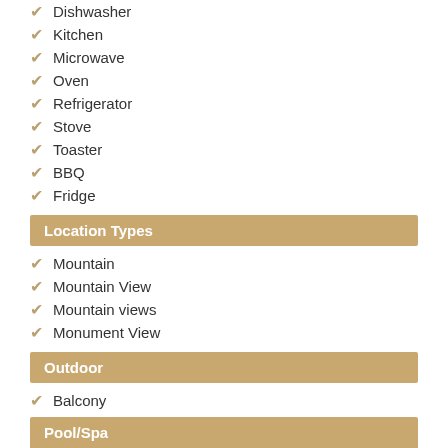Dishwasher
Kitchen
Microwave
Oven
Refrigerator
Stove
Toaster
BBQ
Fridge
Location Types
Mountain
Mountain View
Mountain views
Monument View
Outdoor
Balcony
Grill
Balcony/Terrace
Pool/Spa